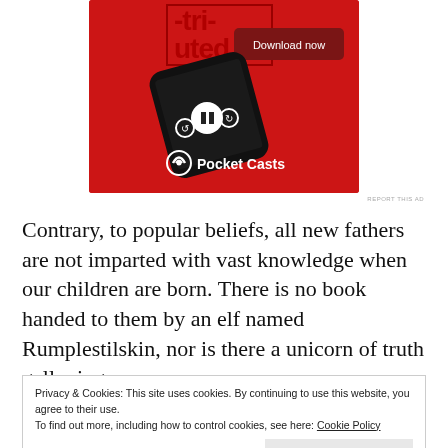[Figure (illustration): Advertisement for Pocket Casts app showing a smartphone on a red background with a 'Download now' button and the Pocket Casts logo.]
REPORT THIS AD
Contrary, to popular beliefs, all new fathers are not imparted with vast knowledge when our children are born. There is no book handed to them by an elf named Rumplestilskin, nor is there a unicorn of truth galloping
Privacy & Cookies: This site uses cookies. By continuing to use this website, you agree to their use.
To find out more, including how to control cookies, see here: Cookie Policy
Close and accept